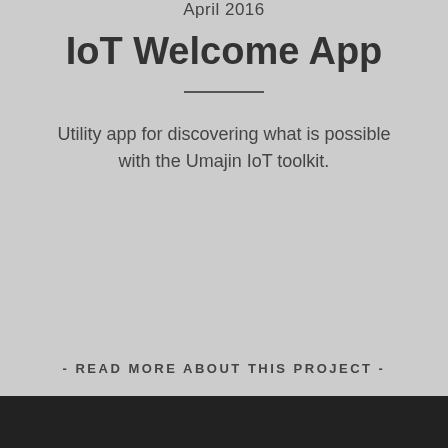April 2016
IoT Welcome App
Utility app for discovering what is possible with the Umajin IoT toolkit.
- READ MORE ABOUT THIS PROJECT -